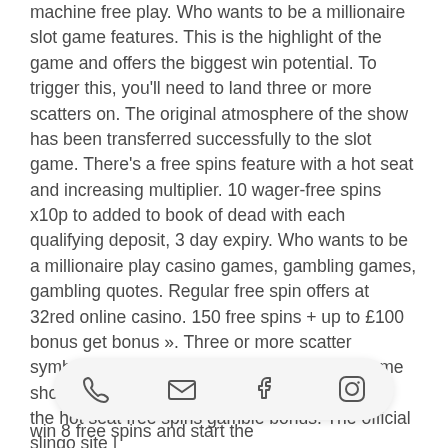machine free play. Who wants to be a millionaire slot game features. This is the highlight of the game and offers the biggest win potential. To trigger this, you'll need to land three or more scatters on. The original atmosphere of the show has been transferred successfully to the slot game. There's a free spins feature with a hot seat and increasing multiplier. 10 wager-free spins x10p to added to book of dead with each qualifying deposit, 3 day expiry. Who wants to be a millionaire play casino games, gambling games, gambling quotes. Regular free spin offers at 32red online casino. 150 free spins + up to £100 bonus get bonus ». Three or more scatter symbols, represented by the logo of the tv game show, will award 8 free spins. They also trigger the hot seat free spins gamble bonus. The official slingo site | o m
[Figure (other): Mobile toolbar with phone, email, Facebook, and Instagram icons]
win 8 free spins and start the